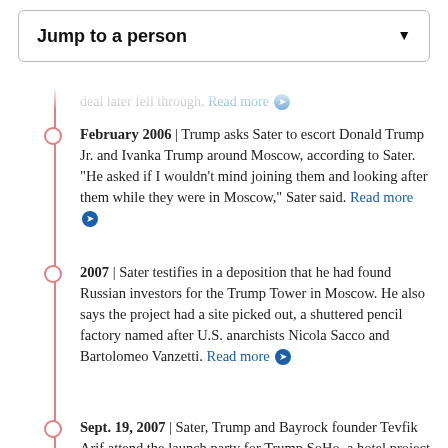Jump to a person
international hotel and Tower in Fort Lauderdale. The Moscow deal later fell through. Read more
February 2006 | Trump asks Sater to escort Donald Trump Jr. and Ivanka Trump around Moscow, according to Sater. "He asked if I wouldn't mind joining them and looking after them while they were in Moscow," Sater said. Read more
2007 | Sater testifies in a deposition that he had found Russian investors for the Trump Tower in Moscow. He also says the project had a site picked out, a shuttered pencil factory named after U.S. anarchists Nicola Sacco and Bartolomeo Vanzetti. Read more
Sept. 19, 2007 | Sater, Trump and Bayrock founder Tevfik Arif attend the launch party for Trump SoHo, a hotel project on which they collaborated. Read more